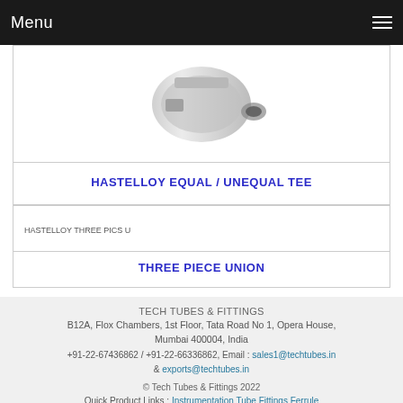Menu
[Figure (photo): Hastelloy tube fitting component - metallic fitting piece shown on white background]
HASTELLOY EQUAL / UNEQUAL TEE
[Figure (photo): Hastelloy Three Piece Union fitting]
THREE PIECE UNION
TECH TUBES & FITTINGS
B12A, Flox Chambers, 1st Floor, Tata Road No 1, Opera House, Mumbai 400004, India
+91-22-67436862 / +91-22-66336862, Email : sales1@techtubes.in & exports@techtubes.in
© Tech Tubes & Fittings 2022
Quick Product Links : Instrumentation Tube Fittings Ferrule